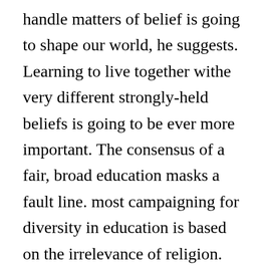handle matters of belief is going to shape our world, he suggests. Learning to live together withe very different strongly-held beliefs is going to be ever more important. The consensus of a fair, broad education masks a fault line. most campaigning for diversity in education is based on the irrelevance of religion. Cooper argues that people's beliefs fundamentally inform their view of knowledge. Why cannot education be predicated on religion as a resource for communities, rather than as clutter in the